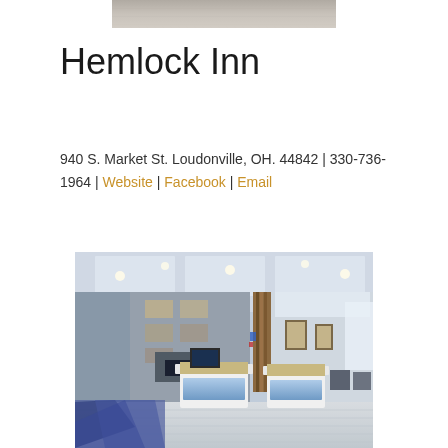[Figure (photo): Gray textured surface photo at top of page]
Hemlock Inn
940 S. Market St. Loudonville, OH. 44842 | 330-736-1964 | Website | Facebook | Email
[Figure (photo): Modern hotel lobby interior with white reception desks illuminated in blue, decorative wall panels, wood accents, and corridor leading to seating area]